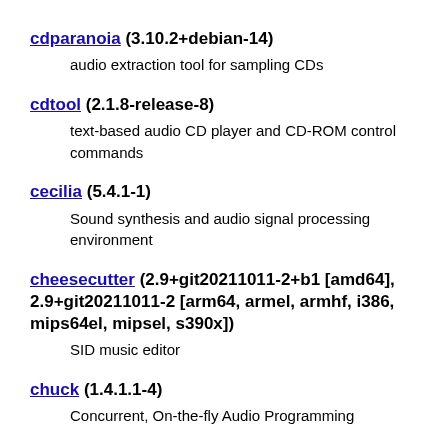cdparanoia (3.10.2+debian-14)
audio extraction tool for sampling CDs
cdtool (2.1.8-release-8)
text-based audio CD player and CD-ROM control commands
cecilia (5.4.1-1)
Sound synthesis and audio signal processing environment
cheesecutter (2.9+git20211011-2+b1 [amd64], 2.9+git20211011-2 [arm64, armel, armhf, i386, mips64el, mipsel, s390x])
SID music editor
chuck (1.4.1.1-4)
Concurrent, On-the-fly Audio Programming